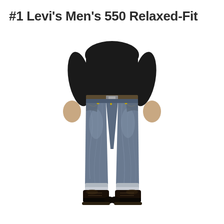#1 Levi's Men's 550 Relaxed-Fit
[Figure (photo): A man wearing Levi's 550 Relaxed-Fit jeans in medium blue denim with a washed look, paired with a black sweater and black leather boots. The jeans have a relaxed fit through the seat and thigh, with a tapered leg. The cuffs are rolled up slightly. The man is standing against a white background, showing the jeans from the waist down.]